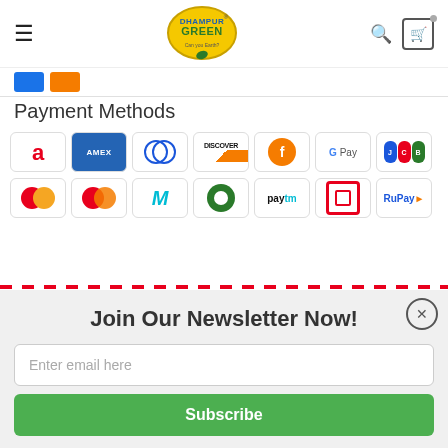[Figure (logo): Dhampur Green brand logo with hamburger menu, search and cart icons in website header]
Payment Methods
[Figure (infographic): Payment method logos: Airtel, AMEX, Diners Club, Discover, Freecharge, Google Pay, JCB, Mobikwik, Mastercard, Mobiquick, Paytm, ICICI, RuPay]
Join Our Newsletter Now!
Enter email here
Subscribe